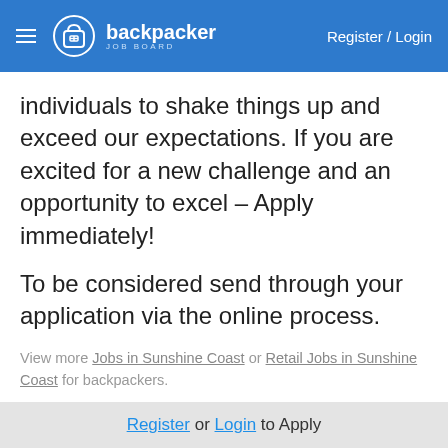backpacker JOB BOARD — Register / Login
individuals to shake things up and exceed our expectations. If you are excited for a new challenge and an opportunity to excel – Apply immediately!
To be considered send through your application via the online process.
View more Jobs in Sunshine Coast or Retail Jobs in Sunshine Coast for backpackers.
Not a backpacker? That's ok. We accept applications from
Register or Login to Apply